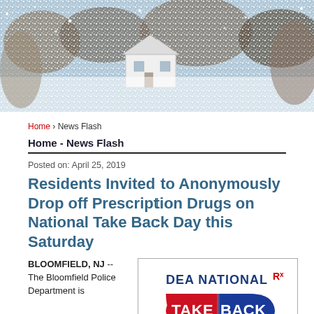[Figure (photo): Aerial or landscape photo showing trees, snow, and a white house/building in winter or blossoming scene]
Home › News Flash
Home - News Flash
Posted on: April 25, 2019
Residents Invited to Anonymously Drop off Prescription Drugs on National Take Back Day this Saturday
BLOOMFIELD, NJ -- The Bloomfield Police Department is
[Figure (logo): DEA National Rx Take Back logo — pill-shaped graphic with red and blue halves, text 'DEA NATIONAL Rx TAKE BACK']